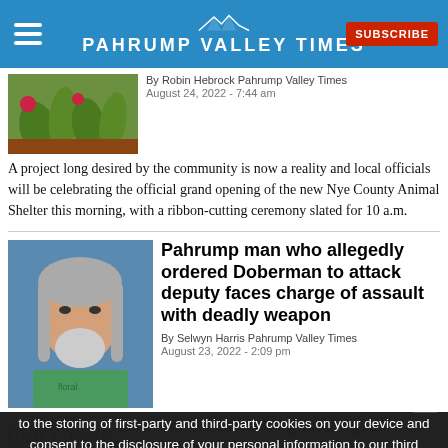Pahrump Valley Times — SUBSCRIBE
[Figure (photo): Photo of plants/greenery, thumbnail for animal shelter article]
By Robin Hebrock Pahrump Valley Times
August 24, 2022 - 7:44 am
A project long desired by the community is now a reality and local officials will be celebrating the official grand opening of the new Nye County Animal Shelter this morning, with a ribbon-cutting ceremony slated for 10 a.m.
[Figure (photo): Mugshot of older white male with gray beard and long gray hair, wearing floral shirt, for Doberman attack article]
Pahrump man who allegedly ordered Doberman to attack deputy faces charge of assault with deadly weapon
By Selwyn Harris Pahrump Valley Times
August 23, 2022 - 2:09 pm
A Pahrump man who allegedly commanded his Doberman to attack a deputy is facing a charge for assault with a deadly weapon.
[Figure (logo): Full Circle Community Organization cursive logo]
You: Full Circle seeking funding for community...
By ... Pahrump Valley Times
August 23, 2022 - 2:01 pm
Pahrump's ... ish Pryor is on a mission to bring a variety of community- and youth-focused
By continuing to browse or by clicking "I Accept Cookies" you agree to the storing of first-party and third-party cookies on your device and consent to the disclosure of your personal information to our third party service providers or advertising partners to optimize your experience, analyze traffic and personalize content.
I Accept Cookies